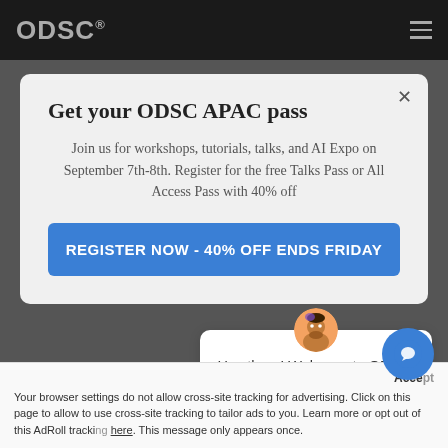ODSC
Get your ODSC APAC pass
Join us for workshops, tutorials, talks, and AI Expo on September 7th-8th. Register for the free Talks Pass or All Access Pass with 40% off
REGISTER NOW - 40% OFF ENDS FRIDAY
Hey there! Welcome to ODSC!
Your browser settings do not allow cross-site tracking for advertising. Click on this page to allow to use cross-site tracking to tailor ads to you. Learn more or opt out of this AdRoll tracking here. This message only appears once.